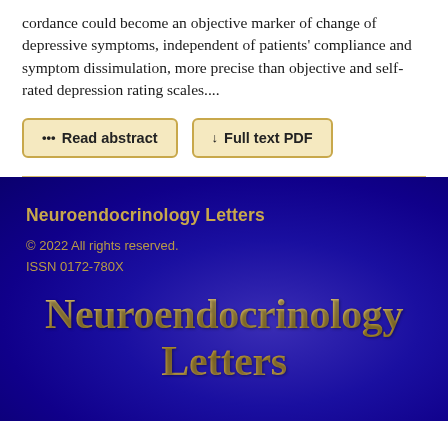cordance could become an objective marker of change of depressive symptoms, independent of patients' compliance and symptom dissimulation, more precise than objective and self-rated depression rating scales....
••• Read abstract   ↓ Full text PDF
Neuroendocrinology Letters
© 2022 All rights reserved.
ISSN 0172-780X
Neuroendocrinology Letters